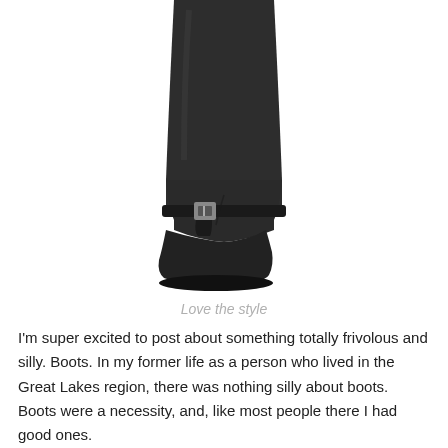[Figure (photo): A tall black leather knee-high riding boot with a buckle strap detail at the ankle, photographed on a white background. Only the lower portion of the boot and leg are visible.]
Love the style
I'm super excited to post about something totally frivolous and silly. Boots. In my former life as a person who lived in the Great Lakes region, there was nothing silly about boots. Boots were a necessity, and, like most people there I had good ones.